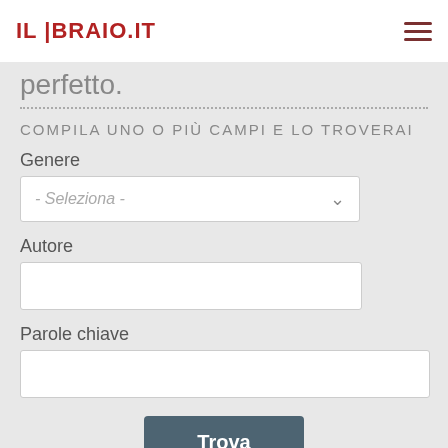IL LIBRAIO.IT
perfetto.
COMPILA UNO O PIÙ CAMPI E LO TROVERAI
Genere
[Figure (screenshot): Dropdown select box with placeholder text '- Seleziona -' and a chevron arrow]
Autore
[Figure (screenshot): Empty text input field for Autore]
Parole chiave
[Figure (screenshot): Empty text input field for Parole chiave]
Trova